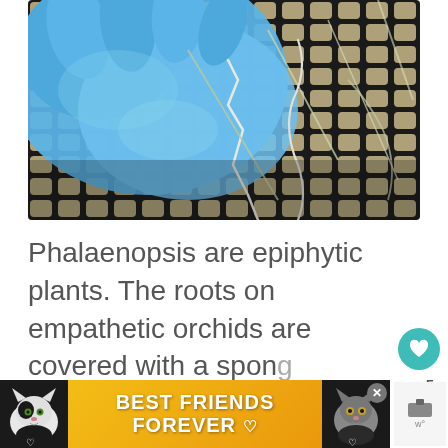[Figure (photo): Close-up photo of blue-gloved hands holding pale orchid roots over a dark diamond-pattern mesh/grid surface. Several thin, pale green and white roots are visible against the black grid background.]
Phalaenopsis are epiphytic plants. The roots on empathetic orchids are covered with a spongy tissue called velamen. This tissue absorbs water and nutrients from
[Figure (infographic): Advertisement banner with cat images reading BEST FRIENDS FOREVER with heart symbols, on an orange/yellow gradient background. An X close button is in the top right corner.]